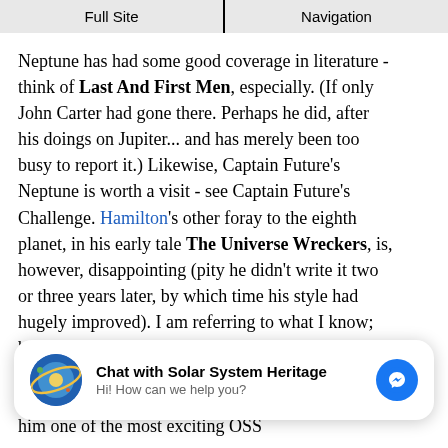Full Site | Navigation
Neptune has had some good coverage in literature - think of Last And First Men, especially. (If only John Carter had gone there. Perhaps he did, after his doings on Jupiter... and has merely been too busy to report it.) Likewise, Captain Future's Neptune is worth a visit - see Captain Future's Challenge. Hamilton's other foray to the eighth planet, in his early tale The Universe Wreckers, is, however, disappointing (pity he didn't write it two or three years later, by which time his style had hugely improved). I am referring to what I know; but bear in mind that I haven't read all of Hamilton's work, perhaps not even nearly all of it. I keep discovering new gems, and that is what makes him one of the most exciting OSS
[Figure (screenshot): Chat widget: circular icon with Solar System Heritage logo, bold text 'Chat with Solar System Heritage', subtitle 'Hi! How can we help you?', blue Facebook Messenger circle button on right]